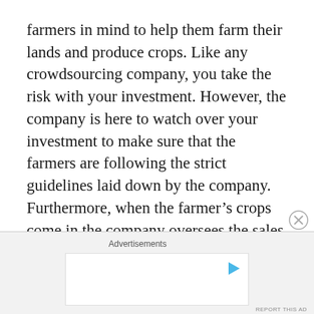farmers in mind to help them farm their lands and produce crops. Like any crowdsourcing company, you take the risk with your investment. However, the company is here to watch over your investment to make sure that the farmers are following the strict guidelines laid down by the company. Furthermore, when the farmer's crops come in the company oversees the sales of these crops and pays back the investors for their investment. If something happens to the crop during the growing season, the company will help to crowdsource the farm for a second growing season so that the investors will be paid back for their initial investment.
Advertisements